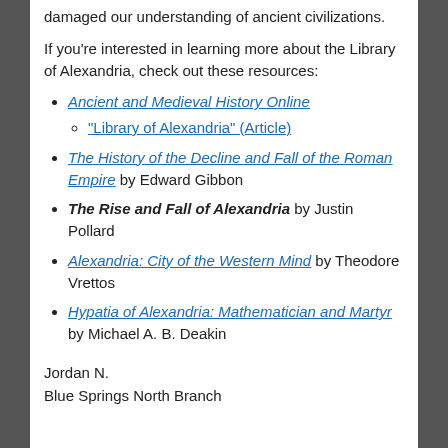damaged our understanding of ancient civilizations.
If you're interested in learning more about the Library of Alexandria, check out these resources:
Ancient and Medieval History Online
"Library of Alexandria" (Article)
The History of the Decline and Fall of the Roman Empire by Edward Gibbon
The Rise and Fall of Alexandria by Justin Pollard
Alexandria: City of the Western Mind by Theodore Vrettos
Hypatia of Alexandria: Mathematician and Martyr by Michael A. B. Deakin
Jordan N.
Blue Springs North Branch